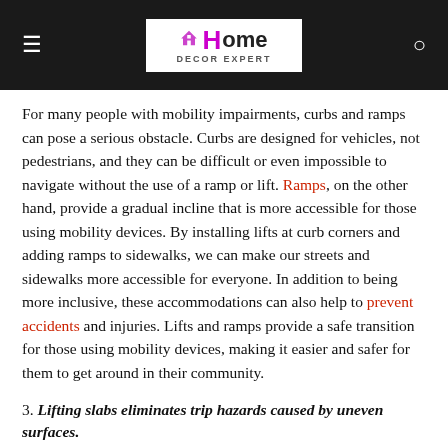Home Decor Expert
For many people with mobility impairments, curbs and ramps can pose a serious obstacle. Curbs are designed for vehicles, not pedestrians, and they can be difficult or even impossible to navigate without the use of a ramp or lift. Ramps, on the other hand, provide a gradual incline that is more accessible for those using mobility devices. By installing lifts at curb corners and adding ramps to sidewalks, we can make our streets and sidewalks more accessible for everyone. In addition to being more inclusive, these accommodations can also help to prevent accidents and injuries. Lifts and ramps provide a safe transition for those using mobility devices, making it easier and safer for them to get around in their community.
3. Lifting slabs eliminates trip hazards caused by uneven surfaces.
Uneven surfaces can be a tripping hazard, especially for the